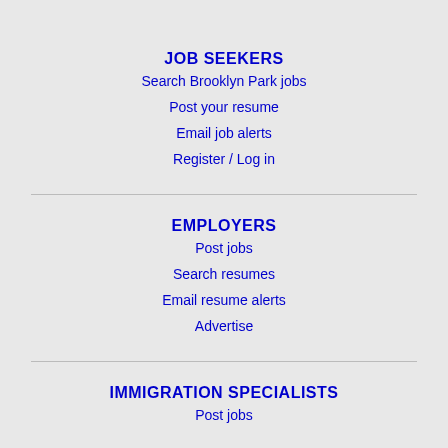JOB SEEKERS
Search Brooklyn Park jobs
Post your resume
Email job alerts
Register / Log in
EMPLOYERS
Post jobs
Search resumes
Email resume alerts
Advertise
IMMIGRATION SPECIALISTS
Post jobs